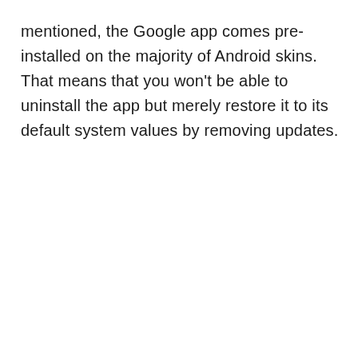mentioned, the Google app comes pre-installed on the majority of Android skins. That means that you won't be able to uninstall the app but merely restore it to its default system values by removing updates.